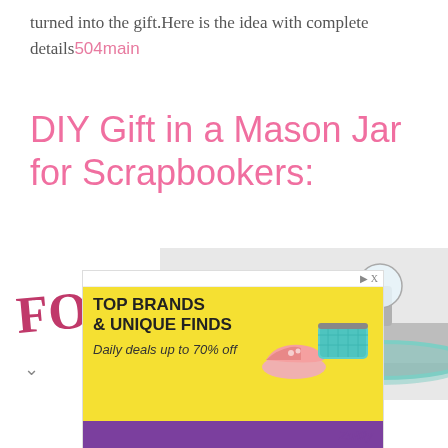turned into the gift.Here is the idea with complete details504main
DIY Gift in a Mason Jar for Scrapbookers:
[Figure (photo): Photo of a mason jar lid decorated with teal lace trim and a crystal glass knob on top, with partial text overlay showing 'FOR' and 'okers' in pink and teal decorative fonts]
[Figure (screenshot): Advertisement banner with yellow background: 'TOP BRANDS & UNIQUE FINDS, Daily deals up to 70% off' with images of a pink sneaker and teal quilted clutch purse, branded Zulily]